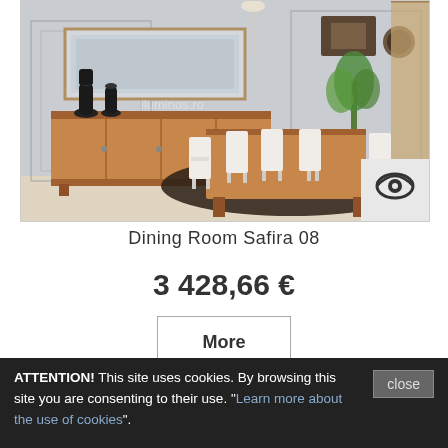[Figure (photo): Dining room set Safira 08 product photo showing a wooden sideboard with decorative vases and mirror, a dining table with white chairs on a dark rug, curtains and wall art in background.]
Dining Room Safira 08
3 428,66 €
More
[Figure (other): Color swatch selector rows showing available finish colors: white, cream/beige, light oak, medium oak, dark green, orange, dark red, dark brown, light grey, near-black, tan/gold, olive/khaki, burnt orange, dark walnut, deep red, dark reddish-brown in first row; red, dark red, olive green, dark teal, dark navy, steel blue, dark brown in second row.]
ATTENTION! This site uses cookies. By browsing this site you are consenting to their use. "Learn more about the use of cookies".